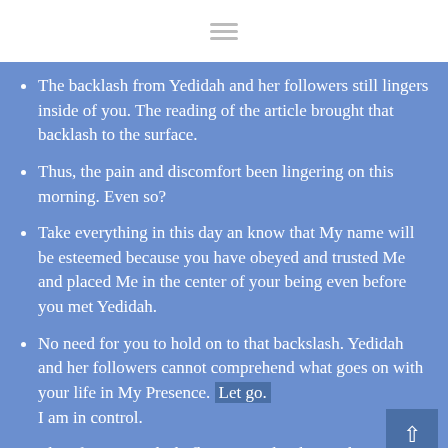[Figure (other): Hamburger menu icon with three horizontal lines]
The backlash from Yedidah and her followers still lingers inside of you. The reading of the article brought that backlash to the surface.
Thus, the pain and discomfort been lingering on this morning. Even so?
Take everything in this day an know that My name will be esteemed because you have obeyed and trusted Me and placed Me in the center of your being even before you met Yedidah.
No need for you to hold on to that backslash. Yedidah and her followers cannot comprehend what goes on with your life in My Presence. Let go. I am in control.
Therefore, every little flaw in you has been taken...